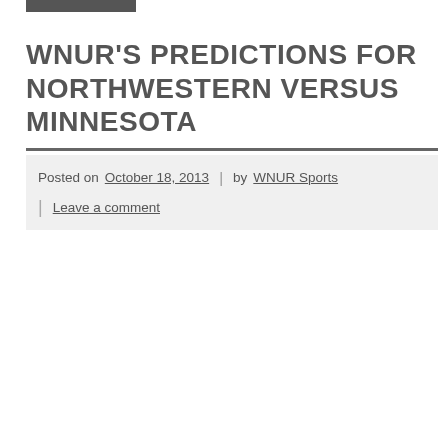WNUR'S PREDICTIONS FOR NORTHWESTERN VERSUS MINNESOTA
Posted on October 18, 2013 | by WNUR Sports | Leave a comment